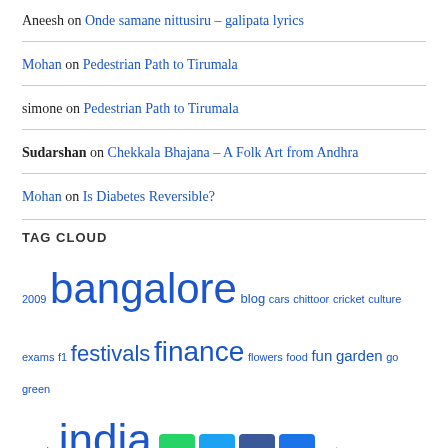Aneesh on Onde samane nittusiru – galipata lyrics
Mohan on Pedestrian Path to Tirumala
simone on Pedestrian Path to Tirumala
Sudarshan on Chekkala Bhajana – A Folk Art from Andhra
Mohan on Is Diabetes Reversible?
TAG CLOUD
2009 bangalore blog cars chittoor cricket culture exams f1 festivals finance flowers food fun garden go green google india investment kannada learning